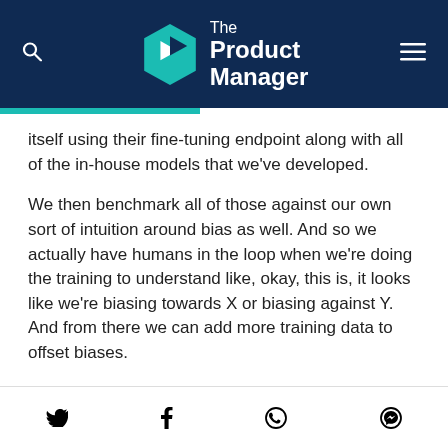The Product Manager
itself using their fine-tuning endpoint along with all of the in-house models that we've developed.
We then benchmark all of those against our own sort of intuition around bias as well. And so we actually have humans in the loop when we're doing the training to understand like, okay, this is, it looks like we're biasing towards X or biasing against Y. And from there we can add more training data to offset biases.
Michael Luchen
Social share icons: Twitter, Facebook, WhatsApp, Messenger